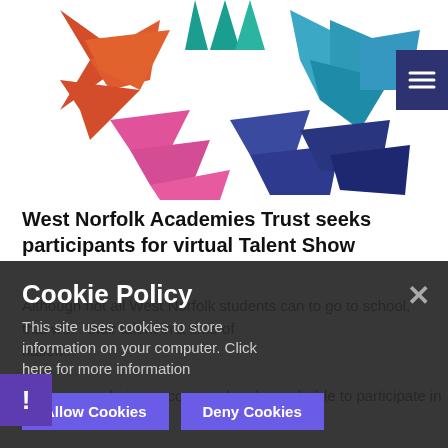[Figure (logo): West Norfolk Academies Trust colorful star/arrow logo]
West Norfolk Academies Trust seeks participants for virtual Talent Show
Although not all West Norfolk students can to go to school, that won't stop them from showing their talent in a time of national...
students... are being encouraged and are eligible to participate in all tal...
Cookie Policy
This site uses cookies to store information on your computer. Click here for more information
Allow Cookies  Deny Cookies